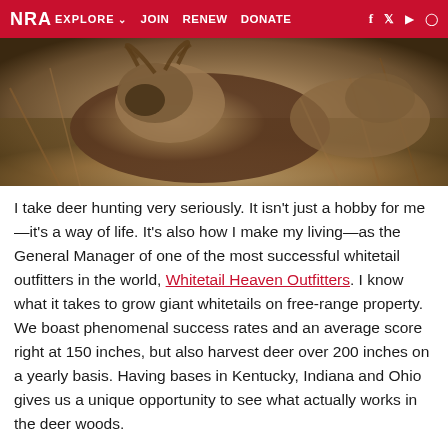NRA EXPLORE  JOIN  RENEW  DONATE
[Figure (photo): Close-up photograph of a harvested whitetail deer lying in dry grass/brush, showing the deer's head and antlers]
I take deer hunting very seriously. It isn't just a hobby for me—it's a way of life. It's also how I make my living—as the General Manager of one of the most successful whitetail outfitters in the world, Whitetail Heaven Outfitters. I know what it takes to grow giant whitetails on free-range property. We boast phenomenal success rates and an average score right at 150 inches, but also harvest deer over 200 inches on a yearly basis. Having bases in Kentucky, Indiana and Ohio gives us a unique opportunity to see what actually works in the deer woods.
My learning mistake: The wo...